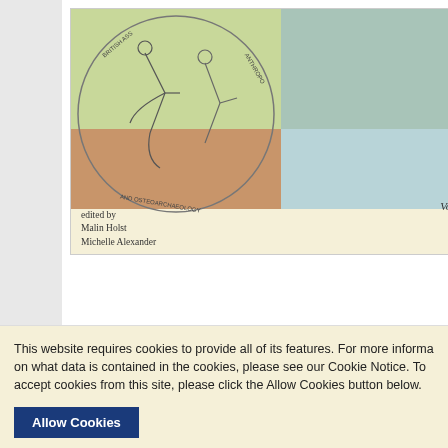[Figure (illustration): Book cover for a British Association for Biological Anthropology and Osteoarchaeology volume (Volume 2), edited by Malin Holst and Michelle Alexander. The cover features a circular emblem with skeletal figures on a four-quadrant colored background (green, teal, brown, blue). The cover has a cream/beige background.]
Special Price:
Qty: 1  Ad...
ISBN: 978178570...
Trends in Biologi...
Publication: 2018
(mm) b/w
Also available as:
Amaz...
App...
Barnes &...
Kob...
Other Books...
This website requires cookies to provide all of its features. For more informa... on what data is contained in the cookies, please see our Cookie Notice. To accept cookies from this site, please click the Allow Cookies button below.
Allow Cookies